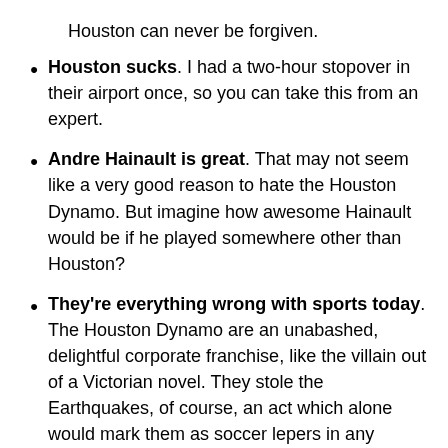Houston can never be forgiven.
Houston sucks. I had a two-hour stopover in their airport once, so you can take this from an expert.
Andre Hainault is great. That may not seem like a very good reason to hate the Houston Dynamo. But imagine how awesome Hainault would be if he played somewhere other than Houston?
They're everything wrong with sports today. The Houston Dynamo are an unabashed, delightful corporate franchise, like the villain out of a Victorian novel. They stole the Earthquakes, of course, an act which alone would mark them as soccer lepers in any serious market. To rub salt into the wound, the stolen team immediately rang off two straight MLS championships that should have